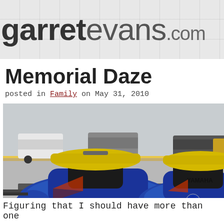garretevans.com
Memorial Daze
posted in Family on May 31, 2010
[Figure (photo): Two blue and yellow Yamaha jet skis on a trailer in a parking lot, with cars and a highway visible in the background.]
Figuring that I should have more than one